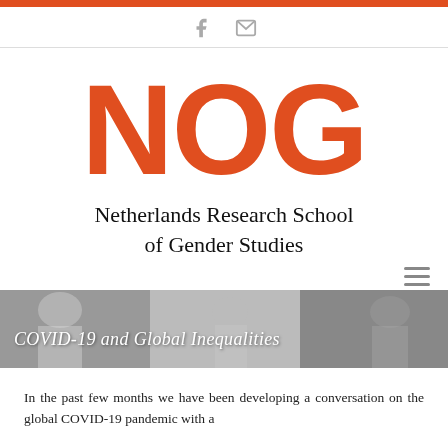NOG – Netherlands Research School of Gender Studies
NOG
Netherlands Research School of Gender Studies
[Figure (photo): Black and white photo of people, with overlay text 'COVID-19 and Global Inequalities']
In the past few months we have been developing a conversation on the global COVID-19 pandemic with a